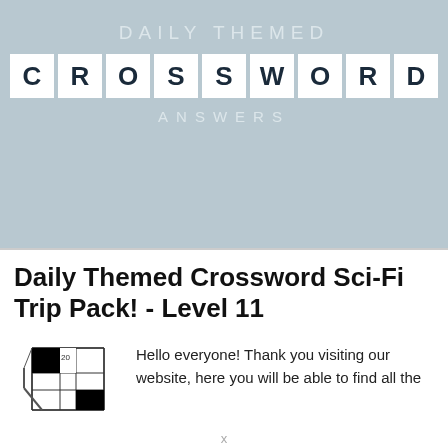[Figure (logo): Daily Themed Crossword Answers logo. Light steel blue background with 'DAILY THEMED' text above, 'CROSSWORD' spelled out in white boxes with dark letters, and 'ANSWERS' text below.]
Daily Themed Crossword Sci-Fi Trip Pack! - Level 11
[Figure (illustration): Crossword puzzle grid icon showing a partial crossword grid with a clue number 20 visible, in black and white.]
Hello everyone! Thank you visiting our website, here you will be able to find all the